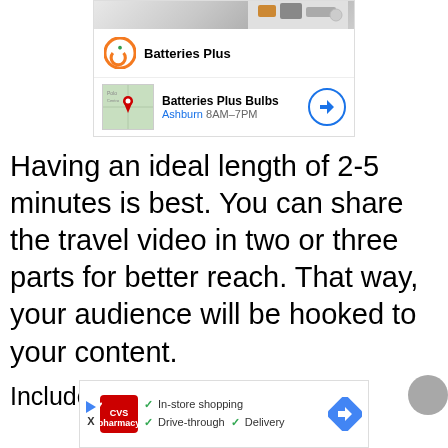[Figure (screenshot): Batteries Plus ad with logo, location info for Ashburn showing 8AM-7PM hours, map thumbnail, and navigation arrow button]
Having an ideal length of 2-5 minutes is best. You can share the travel video in two or three parts for better reach. That way, your audience will be hooked to your content.
Include the locals in your video
[Figure (screenshot): CVS Pharmacy ad showing in-store shopping, drive-through, and delivery options with navigation arrow button]